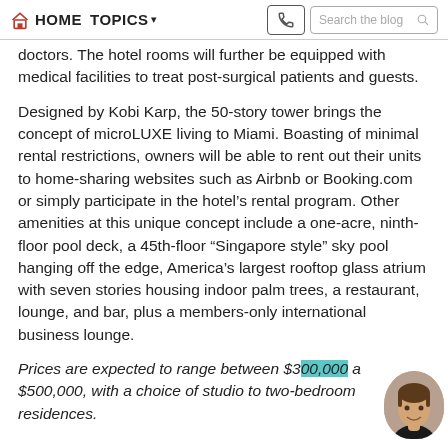HOME  TOPICS  Search the blog
doctors. The hotel rooms will further be equipped with medical facilities to treat post-surgical patients and guests.
Designed by Kobi Karp, the 50-story tower brings the concept of microLUXE living to Miami. Boasting of minimal rental restrictions, owners will be able to rent out their units to home-sharing websites such as Airbnb or Booking.com or simply participate in the hotel’s rental program. Other amenities at this unique concept include a one-acre, ninth-floor pool deck, a 45th-floor “Singapore style” sky pool hanging off the edge, America’s largest rooftop glass atrium with seven stories housing indoor palm trees, a restaurant, lounge, and bar, plus a members-only international business lounge.
Prices are expected to range between $300,000 a $500,000, with a choice of studio to two-bedroom residences.